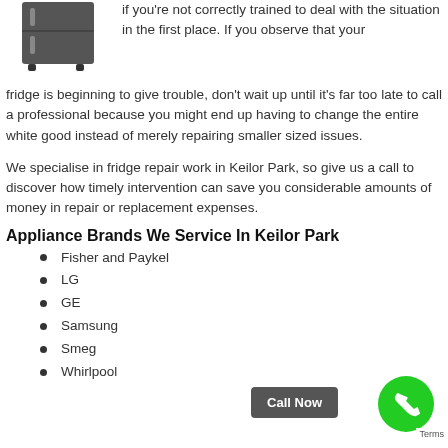[Figure (photo): Gray refrigerator appliance image, partial view at top left]
if you're not correctly trained to deal with the situation in the first place. If you observe that your fridge is beginning to give trouble, don't wait up until it's far too late to call a professional because you might end up having to change the entire white good instead of merely repairing smaller sized issues.
We specialise in fridge repair work in Keilor Park, so give us a call to discover how timely intervention can save you considerable amounts of money in repair or replacement expenses.
Appliance Brands We Service In Keilor Park
Fisher and Paykel
LG
GE
Samsung
Smeg
Whirlpool